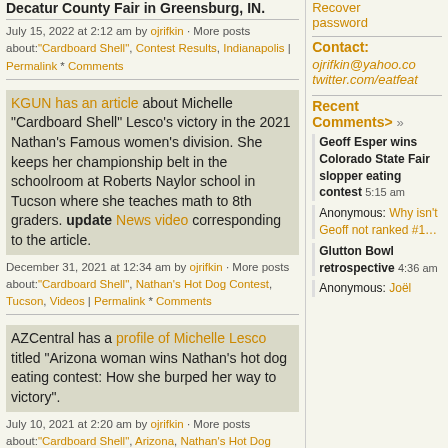Decatur County Fair in Greensburg, IN.
July 15, 2022 at 2:12 am by ojrifkin · More posts about:"Cardboard Shell", Contest Results, Indianapolis | Permalink * Comments
KGUN has an article about Michelle "Cardboard Shell" Lesco's victory in the 2021 Nathan's Famous women's division. She keeps her championship belt in the schoolroom at Roberts Naylor school in Tucson where she teaches math to 8th graders. update News video corresponding to the article.
December 31, 2021 at 12:34 am by ojrifkin · More posts about:"Cardboard Shell", Nathan's Hot Dog Contest, Tucson, Videos | Permalink * Comments
AZCentral has a profile of Michelle Lesco titled "Arizona woman wins Nathan's hot dog eating contest: How she burped her way to victory".
July 10, 2021 at 2:20 am by ojrifkin · More posts about:"Cardboard Shell", Arizona, Nathan's Hot Dog Contest | Permalink * Comments (5)
Daily Mail has an article about former
Recover password
Contact:
ojrifkin@yahoo.co
twitter.com/eatfeat
Recent Comments> »
Geoff Esper wins Colorado State Fair slopper eating contest 5:15 am
Anonymous: Why isn't Geoff not ranked #1…
Glutton Bowl retrospective 4:36 am
Anonymous: Joël…